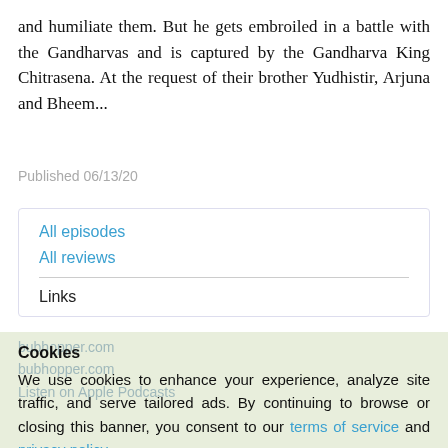and humiliate them. But he gets embroiled in a battle with the Gandharvas and is captured by the Gandharva King Chitrasena. At the request of their brother Yudhistir, Arjuna and Bheem...
Published 06/13/20
All episodes
All reviews
Links
bubhopper.com
bubhopper.com
Listen on Apple Podcasts
Cookies
We use cookies to enhance your experience, analyze site traffic, and serve tailored ads. By continuing to browse or closing this banner, you consent to our terms of service and privacy policy.
Accept Cookies